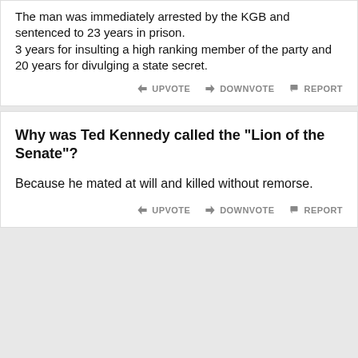The man was immediately arrested by the KGB and sentenced to 23 years in prison. 3 years for insulting a high ranking member of the party and 20 years for divulging a state secret.
UPVOTE  DOWNVOTE  REPORT
Why was Ted Kennedy called the "Lion of the Senate"?
Because he mated at will and killed without remorse.
UPVOTE  DOWNVOTE  REPORT